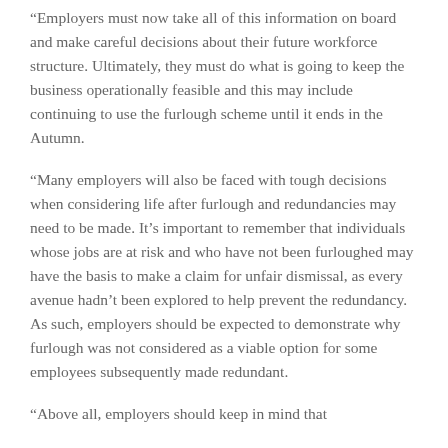“Employers must now take all of this information on board and make careful decisions about their future workforce structure. Ultimately, they must do what is going to keep the business operationally feasible and this may include continuing to use the furlough scheme until it ends in the Autumn.
“Many employers will also be faced with tough decisions when considering life after furlough and redundancies may need to be made. It’s important to remember that individuals whose jobs are at risk and who have not been furloughed may have the basis to make a claim for unfair dismissal, as every avenue hadn’t been explored to help prevent the redundancy. As such, employers should be expected to demonstrate why furlough was not considered as a viable option for some employees subsequently made redundant.
“Above all, employers should keep in mind that